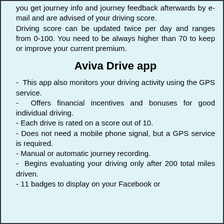you get journey info and journey feedback afterwards by e-mail and are advised of your driving score. Driving score can be updated twice per day and ranges from 0-100. You need to be always higher than 70 to keep or improve your current premium.
Aviva Drive app
- This app also monitors your driving activity using the GPS service.
- Offers financial incentives and bonuses for good individual driving.
- Each drive is rated on a score out of 10.
- Does not need a mobile phone signal, but a GPS service is required.
- Manual or automatic journey recording.
- Begins evaluating your driving only after 200 total miles driven.
- 11 badges to display on your Facebook or